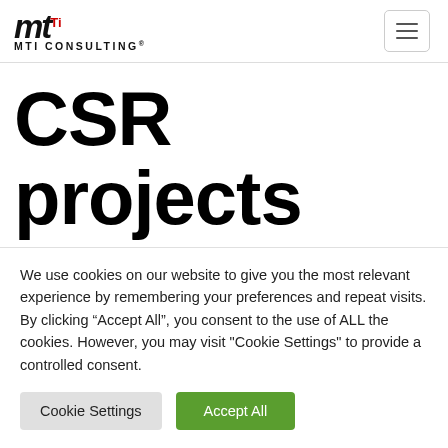[Figure (logo): MTI Consulting logo with stylized M and red Ti superscript, followed by 'MTI CONSULTING' text with registered trademark symbol]
CSR projects must make a
We use cookies on our website to give you the most relevant experience by remembering your preferences and repeat visits. By clicking “Accept All”, you consent to the use of ALL the cookies. However, you may visit "Cookie Settings" to provide a controlled consent.